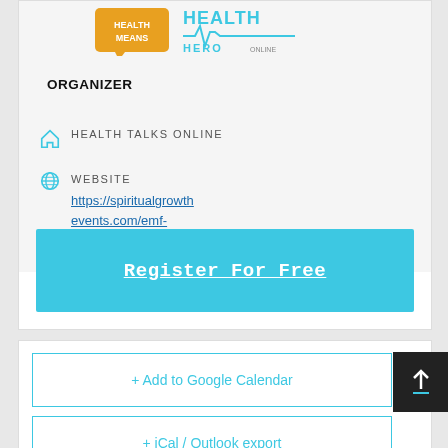[Figure (logo): Health Means logo (orange speech bubble) and Health Hero Online logo (teal text with heartbeat line)]
ORGANIZER
HEALTH TALKS ONLINE
WEBSITE https://spiritualgrowthevents.com/emf-health-summit
Register For Free
+ Add to Google Calendar
+ iCal / Outlook export